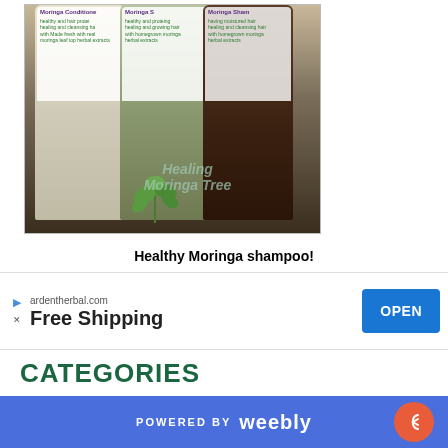[Figure (photo): Three Moringa product bottles (conditioner, shampoo, shampoo) with labels, on a dark surface with a small green plant in front. Watermark text reads 'Healing Moringa Tree'.]
Healthy Moringa shampoo!
[Figure (other): Advertisement banner: ardentherbal.com, Free Shipping, with OPEN button]
CATEGORIES
All
100% Organic
POWERED BY weebly